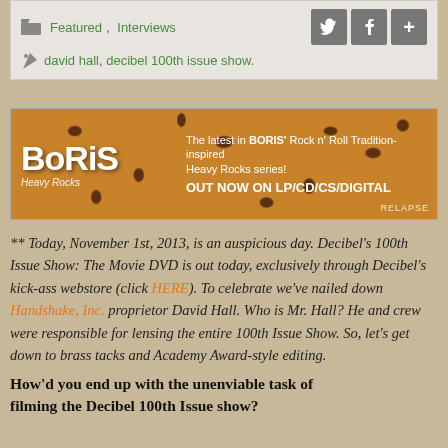Featured, Interviews | david hall, decibel 100th issue show.
[Figure (photo): Boris Heavy Rocks band advertisement banner with leopard print background. Text reads: The latest in BORIS' Rock n' Roll Tradition-inspired Heavy Rocks series! OUT NOW ON LP/CD/CS/DIGITAL. RELAPSE.]
** Today, November 1st, 2013, is an auspicious day. Decibel's 100th Issue Show: The Movie DVD is out today, exclusively through Decibel's kick-ass webstore (click HERE). To celebrate we've nailed down Handshake, Inc. proprietor David Hall. Who is Mr. Hall? He and crew were responsible for lensing the entire 100th Issue Show. So, let's get down to brass tacks and Academy Award-style editing.
How'd you end up with the unenviable task of filming the Decibel 100th Issue show?